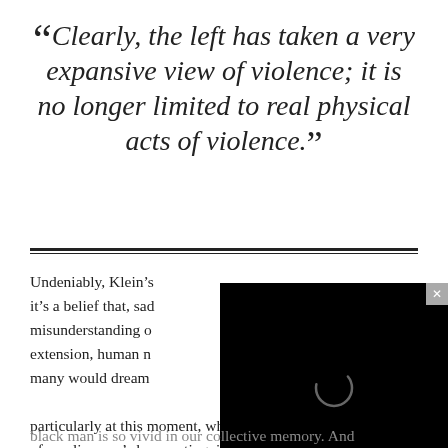“Clearly, the left has taken a very expansive view of violence; it is no longer limited to real physical acts of violence.”
[Figure (other): Black video player overlay with loading spinner and close button (x)]
Undeniably, Klein’s [text obscured by video] it’s a belief that, sad[ly] [text obscured] misunderstanding o[f] [text obscured] extension, human n[ature] [text obscured] many would dream [text obscured] particularly at this moment, when the horrific vision of a policeman’s knee extinguishing the life of a
black man is so vivid in our collective memory. And